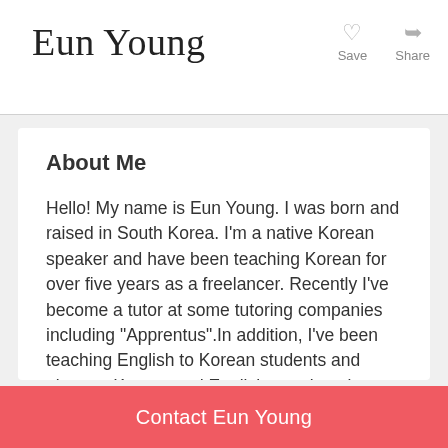Eun Young
About Me
Hello! My name is Eun Young. I was born and raised in South Korea. I'm a native Korean speaker and have been teaching Korean for over five years as a freelancer. Recently I've become a tutor at some tutoring companies including "Apprentus".In addition, I've been teaching English to Korean students and piano to Korean and English-speakers in South Korea and Canada. I feel so happy and rewarded when I see my students improve their Korean ability! I love teaching and meeting students from all around the world. :) I teach all levels of Korean including the basic Korean alphabet, Korean conversation, reading,
Contact Eun Young